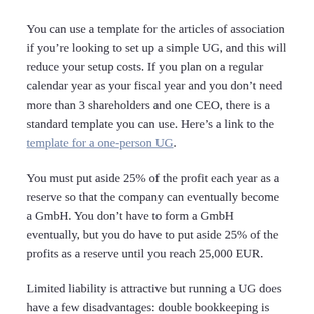You can use a template for the articles of association if you're looking to set up a simple UG, and this will reduce your setup costs. If you plan on a regular calendar year as your fiscal year and you don't need more than 3 shareholders and one CEO, there is a standard template you can use. Here's a link to the template for a one-person UG.
You must put aside 25% of the profit each year as a reserve so that the company can eventually become a GmbH. You don't have to form a GmbH eventually, but you do have to put aside 25% of the profits as a reserve until you reach 25,000 EUR.
Limited liability is attractive but running a UG does have a few disadvantages: double bookkeeping is mandatory;